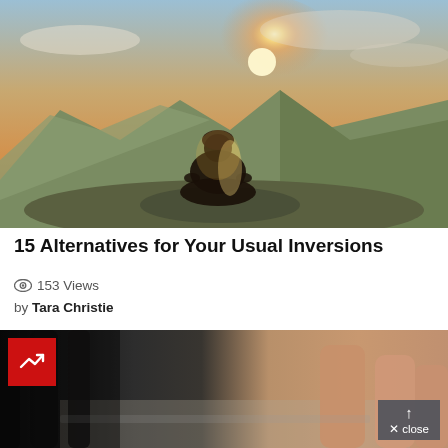[Figure (photo): Person sitting in lotus meditation pose on a rocky mountain peak, silhouetted against a bright sunrise with golden light, mountains in background, green hillsides visible]
15 Alternatives for Your Usual Inversions
153 Views
by Tara Christie
[Figure (photo): Close-up of yoga practitioner legs on a mat, dark legs visible on left, skin-toned legs on right, with a red badge overlay in top-left corner and a close button in bottom-right]